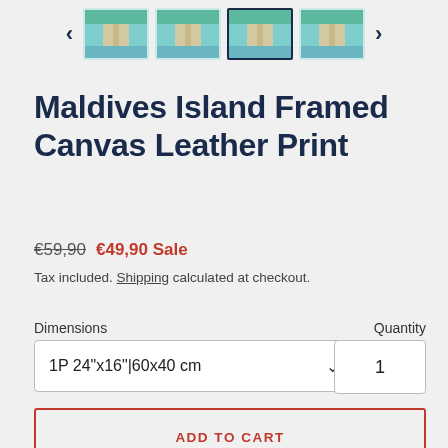[Figure (screenshot): Thumbnail carousel with 4 product images of Maldives Island scene, with left and right navigation arrows. Third thumbnail is selected (highlighted with dark border).]
Maldives Island Framed Canvas Leather Print
€59,90  €49,90 Sale
Tax included. Shipping calculated at checkout.
Dimensions
1P 24"x16"|60x40 cm
Quantity
1
ADD TO CART